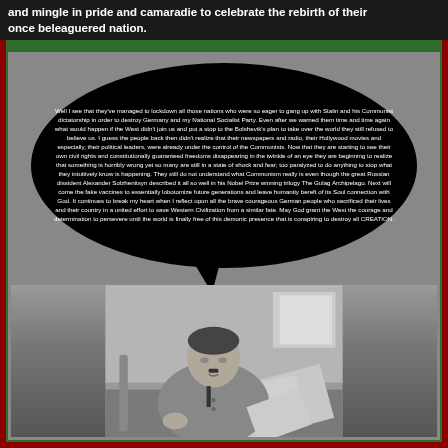and mingle in pride and camaradie to celebrate the rebirth of their once beleaguered nation.
[Figure (photo): Black and white photograph of a man in military uniform sitting at a desk reading papers, with a speech bubble overlay containing text criticizing communism and Allied nations.]